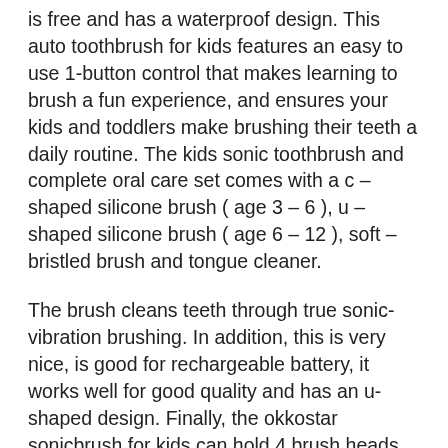is free and has a waterproof design. This auto toothbrush for kids features an easy to use 1-button control that makes learning to brush a fun experience, and ensures your kids and toddlers make brushing their teeth a daily routine. The kids sonic toothbrush and complete oral care set comes with a c – shaped silicone brush ( age 3 – 6 ), u – shaped silicone brush ( age 6 – 12 ), soft – bristled brush and tongue cleaner.
The brush cleans teeth through true sonic-vibration brushing. In addition, this is very nice, is good for rechargeable battery, it works well for good quality and has an u-shaped design. Finally, the okkostar sonicbrush for kids can hold 4 brush heads for deep cleansing.